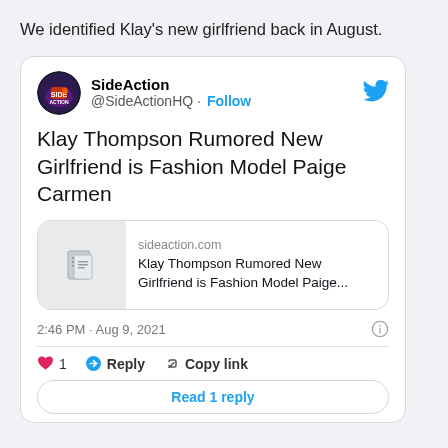We identified Klay's new girlfriend back in August.
[Figure (screenshot): Embedded tweet from @SideActionHQ showing 'Klay Thompson Rumored New Girlfriend is Fashion Model Paige Carmen', posted 2:46 PM · Aug 9, 2021, with 1 like, Reply, Copy link, and Read 1 reply button.]